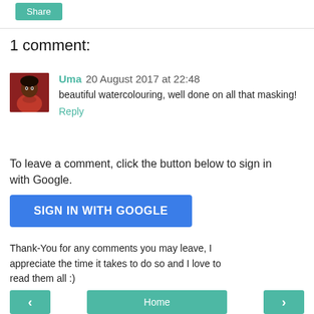Share
1 comment:
Uma  20 August 2017 at 22:48
beautiful watercolouring, well done on all that masking!
Reply
To leave a comment, click the button below to sign in with Google.
SIGN IN WITH GOOGLE
Thank-You for any comments you may leave, I appreciate the time it takes to do so and I love to read them all :)
< Home >